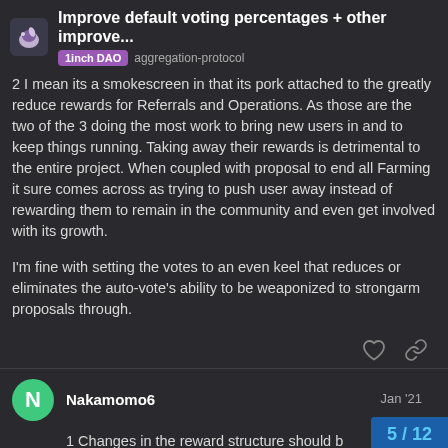Improve default voting percentages + other improve... | 1inch DAO | aggregation-protocol
2 I mean its a smokescreen in that its pork attached to the greatly reduce rewards for Referrals and Operations. As those are the two of the 3 doing the most work to bring new users in and to keep things running. Taking away their rewards is detrimental to the entire project. When coupled with proposal to end all Farming it sure comes across as trying to push user away instead of rewarding them to remain in the community and even get involved with its growth.
I'm fine with setting the votes to an even keel that reduces or eliminates the auto-vote's ability to be weaponized to strongarm proposals through.
Nakamomo6 Jan '21
1 Changes in the reward structure should b
5 / 12